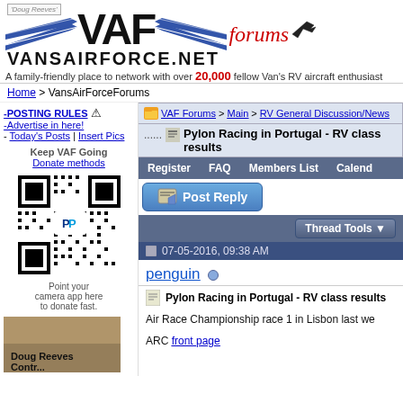VAF VANSAIRFORCE.NET forums — A family-friendly place to network with over 20,000 fellow Van's RV aircraft enthusiasts
Home > VansAirForceForums
-POSTING RULES ⚠ -Advertise in here! - Today's Posts | Insert Pics
Keep VAF Going
Donate methods
[Figure (other): QR code with PayPal logo for donations]
Point your camera app here to donate fast.
[Figure (photo): Photo of Doug Reeves with caption 'Doug Reeves Contr...']
VAF Forums > Main > RV General Discussion/News
Pylon Racing in Portugal - RV class results
Register   FAQ   Members List   Calend...
Post Reply
Thread Tools
07-05-2016, 09:38 AM
penguin
Pylon Racing in Portugal - RV class results
Air Race Championship race 1 in Lisbon last we...
ARC front page